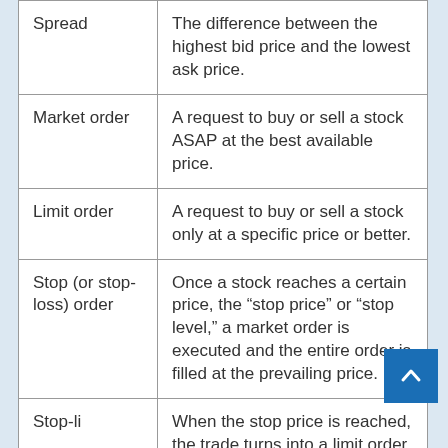| Term | Definition |
| --- | --- |
| Spread | The difference between the highest bid price and the lowest ask price. |
| Market order | A request to buy or sell a stock ASAP at the best available price. |
| Limit order | A request to buy or sell a stock only at a specific price or better. |
| Stop (or stop-loss) order | Once a stock reaches a certain price, the “stop price” or “stop level,” a market order is executed and the entire order is filled at the prevailing price. |
| Stop-li... | When the stop price is reached, the trade turns into a limit order a... |